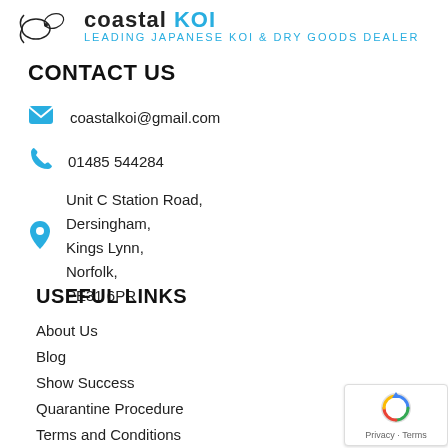LEADING JAPANESE KOI & DRY GOODS DEALER
CONTACT US
coastalkoi@gmail.com
01485 544284
Unit C Station Road, Dersingham, Kings Lynn, Norfolk, PE31 6PR
USEFUL LINKS
About Us
Blog
Show Success
Quarantine Procedure
Terms and Conditions